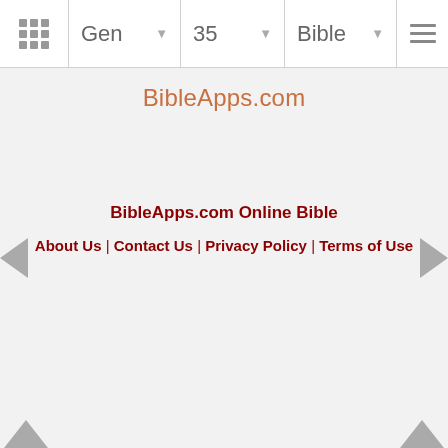Gen | 35 | Bible
BibleApps.com
BibleApps.com Online Bible
About Us | Contact Us | Privacy Policy | Terms of Use